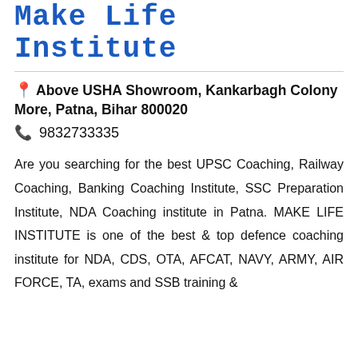Make Life Institute
Above USHA Showroom, Kankarbagh Colony More, Patna, Bihar 800020
9832733335
Are you searching for the best UPSC Coaching, Railway Coaching, Banking Coaching Institute, SSC Preparation Institute, NDA Coaching institute in Patna. MAKE LIFE INSTITUTE is one of the best & top defence coaching institute for NDA, CDS, OTA, AFCAT, NAVY, ARMY, AIR FORCE, TA, exams and SSB training &